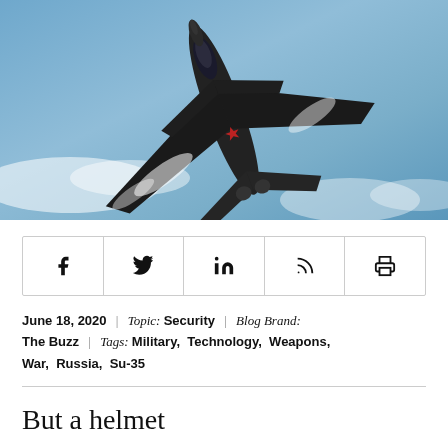[Figure (photo): Russian Su-35 fighter jet photographed from above against a blue sky with vapor trails, showing the aircraft in a banking maneuver with a red star insignia visible on the fuselage.]
[Figure (infographic): Social media share bar with icons for Facebook, Twitter, LinkedIn, RSS feed, and Print.]
June 18, 2020 | Topic: Security | Blog Brand: The Buzz | Tags: Military, Technology, Weapons, War, Russia, Su-35
But a helmet